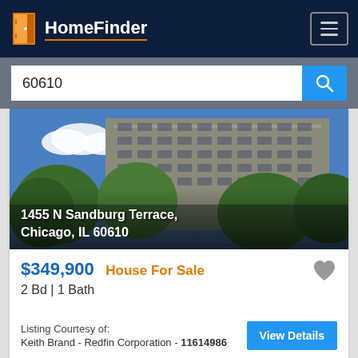HomeFinder
60610
[Figure (photo): Exterior photo of a high-rise apartment building at 1455 N Sandburg Terrace, Chicago, IL 60610, with trees in foreground and blue sky]
1455 N Sandburg Terrace, Chicago, IL 60610
$349,900 House For Sale
2 Bd | 1 Bath
Listing Courtesy of:
Keith Brand - Redfin Corporation - 11614986